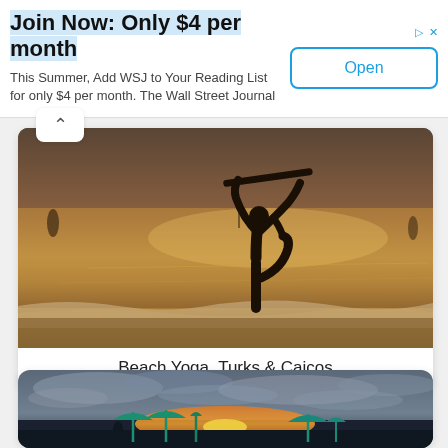Join Now: Only $4 per month
This Summer, Add WSJ to Your Reading List for only $4 per month. The Wall Street Journal
[Figure (photo): Silhouette of a person doing yoga on a beach at sunset, standing on one leg with surfboard, warm golden ocean light behind them]
Beach Yoga, Turks & Caicos
[Figure (photo): Sunset beach scene with dramatic cloudy sky, teal beach umbrellas silhouetted against orange and pink sunset on the horizon]